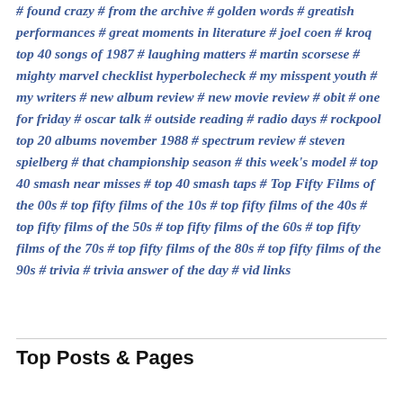# found crazy # from the archive # golden words # greatish performances # great moments in literature # joel coen # kroq top 40 songs of 1987 # laughing matters # martin scorsese # mighty marvel checklist hyperbolecheck # my misspent youth # my writers # new album review # new movie review # obit # one for friday # oscar talk # outside reading # radio days # rockpool top 20 albums november 1988 # spectrum review # steven spielberg # that championship season # this week's model # top 40 smash near misses # top 40 smash taps # Top Fifty Films of the 00s # top fifty films of the 10s # top fifty films of the 40s # top fifty films of the 50s # top fifty films of the 60s # top fifty films of the 70s # top fifty films of the 80s # top fifty films of the 90s # trivia # trivia answer of the day # vid links
Top Posts & Pages